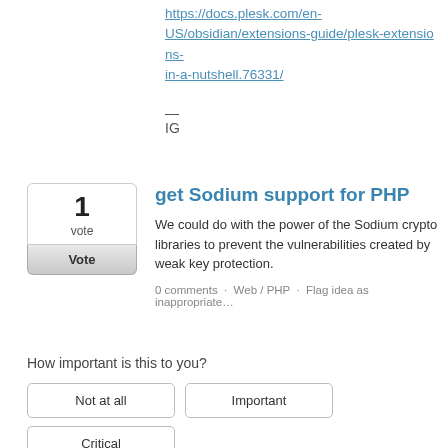https://docs.plesk.com/en-US/obsidian/extensions-guide/plesk-extensions-in-a-nutshell.76331/
—
IG
get Sodium support for PHP
We could do with the power of the Sodium crypto libraries to prevent the vulnerabilities created by weak key protection.
0 comments · Web / PHP · Flag idea as inappropriate…
How important is this to you?
Not at all
Important
Critical